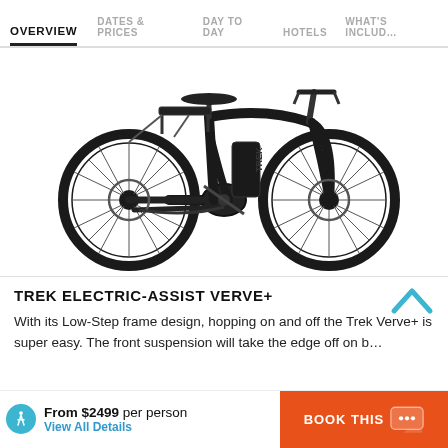OVERVIEW | DATES & PRICES | DAY TO DAY | HOTELS | WHAT'S INCLUDED
[Figure (photo): Black Trek Electric-Assist Verve+ e-bike with low-step frame, rear rack, front suspension, and disc brakes, shown on white background]
TREK ELECTRIC-ASSIST VERVE+
With its Low-Step frame design, hopping on and off the Trek Verve+ is super easy. The front suspension will take the edge off...
From $2499 per person
View All Details
BOOK THIS